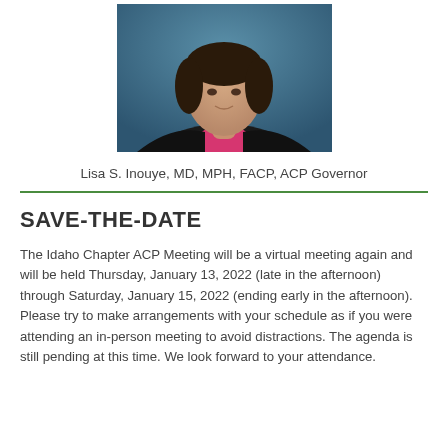[Figure (photo): Portrait photo of Lisa S. Inouye, a woman wearing a pink/magenta top under a black jacket, against a dark teal background]
Lisa S. Inouye, MD, MPH, FACP, ACP Governor
SAVE-THE-DATE
The Idaho Chapter ACP Meeting will be a virtual meeting again and will be held Thursday, January 13, 2022 (late in the afternoon) through Saturday, January 15, 2022 (ending early in the afternoon). Please try to make arrangements with your schedule as if you were attending an in-person meeting to avoid distractions. The agenda is still pending at this time. We look forward to your attendance.